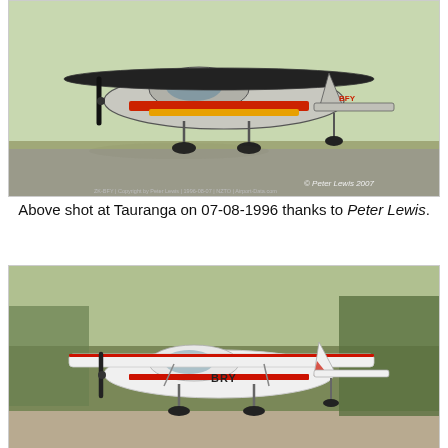[Figure (photo): Photograph of a small propeller aircraft with black, red, and yellow livery parked on tarmac at Tauranga airport, registration BFY visible on tail. Copyright Peter Lewis 2007 watermark visible.]
Above shot at Tauranga on 07-08-1996 thanks to Peter Lewis.
[Figure (photo): Photograph of a white and red small propeller aircraft with registration BRY on fuselage, parked on grass/gravel at Omarama.]
Then at Omarama on 09-04-1998.
- followed by the RNZAF Base Auckland Aviation Sports Club Inc from 17-07-1998.
By 13-11-1999 it was listed to the Hauraki Aero Club (Inc) at